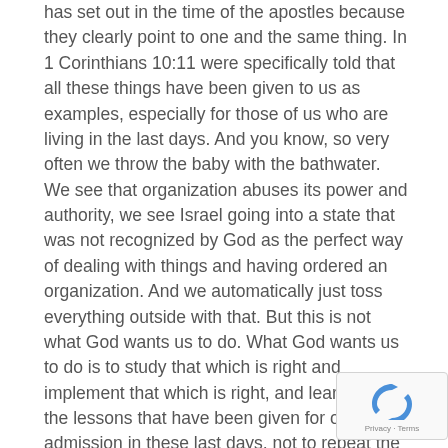has set out in the time of the apostles because they clearly point to one and the same thing. In 1 Corinthians 10:11 were specifically told that all these things have been given to us as examples, especially for those of us who are living in the last days. And you know, so very often we throw the baby with the bathwater. We see that organization abuses its power and authority, we see Israel going into a state that was not recognized by God as the perfect way of dealing with things and having ordered an organization. And we automatically just toss everything outside with that. But this is not what God wants us to do. What God wants us to do is to study that which is right and implement that which is right, and learn from the lessons that have been given for our admission in these last days, not to repeat the mistakes of the Israelites. Not to repeat the mistakes that we have seen later in history through various implementations that were not fully in line with God.